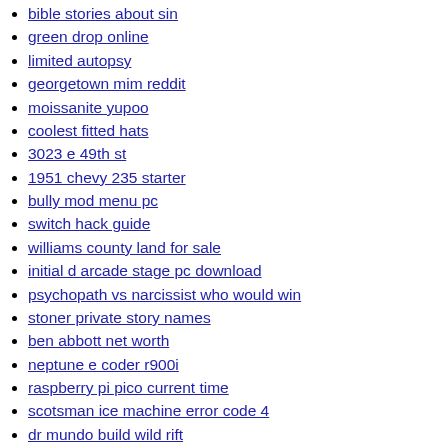bible stories about sin
green drop online
limited autopsy
georgetown mim reddit
moissanite yupoo
coolest fitted hats
3023 e 49th st
1951 chevy 235 starter
bully mod menu pc
switch hack guide
williams county land for sale
initial d arcade stage pc download
psychopath vs narcissist who would win
stoner private story names
ben abbott net worth
neptune e coder r900i
raspberry pi pico current time
scotsman ice machine error code 4
dr mundo build wild rift
what does check active air flap system mean
bmw n55 valve cover gasket replacement cost
oregon cps complaints
greif corporate office phone number
bge gas meter
how to open car trunk from outside